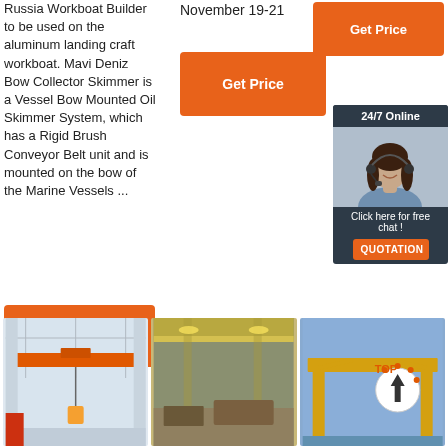Russia Workboat Builder to be used on the aluminum landing craft workboat. Mavi Deniz Bow Collector Skimmer is a Vessel Bow Mounted Oil Skimmer System, which has a Rigid Brush Conveyor Belt unit and is mounted on the bow of the Marine Vessels ...
[Figure (other): Orange 'Get Price' button top right]
November 19-21
[Figure (other): Orange 'Get Price' button middle]
[Figure (other): Orange 'Get Price' button bottom left]
[Figure (photo): 24/7 Online chat widget with woman in headset and QUOTATION button]
[Figure (photo): Industrial overhead crane in warehouse with orange beam]
[Figure (photo): Interior of steel structure industrial warehouse]
[Figure (photo): Yellow gantry crane outdoors with TOP logo and up arrow]